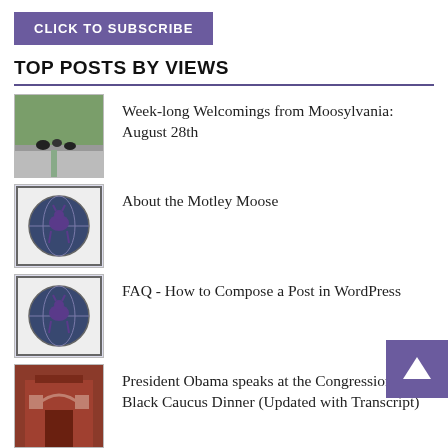CLICK TO SUBSCRIBE
TOP POSTS BY VIEWS
Week-long Welcomings from Moosylvania: August 28th
About the Motley Moose
FAQ - How to Compose a Post in WordPress
President Obama speaks at the Congressional Black Caucus Dinner (Updated with Transcript)
Democratic Party Principles: "Civil Rights is not a political issue, it is a moral issue to be resolved through political means."
A Hike Through our 100 Aker Wood*